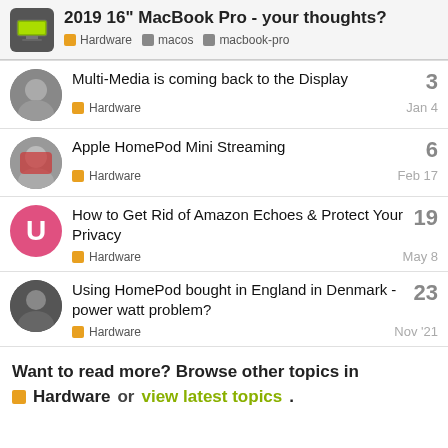2019 16" MacBook Pro - your thoughts? Hardware macos macbook-pro
Multi-Media is coming back to the Display | Hardware | Jan 4 | 3 replies
Apple HomePod Mini Streaming | Hardware | Feb 17 | 6 replies
How to Get Rid of Amazon Echoes & Protect Your Privacy | Hardware | May 8 | 19 replies
Using HomePod bought in England in Denmark - power watt problem? | Hardware | Nov '21 | 23 replies
Want to read more? Browse other topics in Hardware or view latest topics.